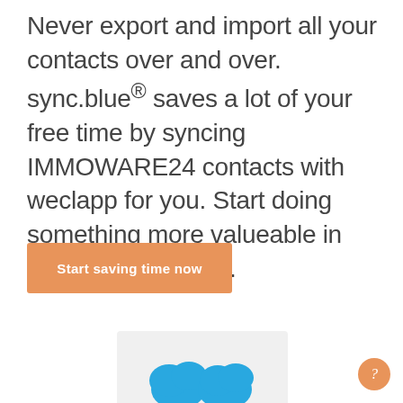Never export and import all your contacts over and over. sync.blue® saves a lot of your free time by syncing IMMOWARE24 contacts with weclapp for you. Start doing something more valueable in your new free time.
[Figure (other): Orange CTA button labeled 'Start saving time now']
[Figure (illustration): Blue cloud sync logo illustration partially visible at bottom of page]